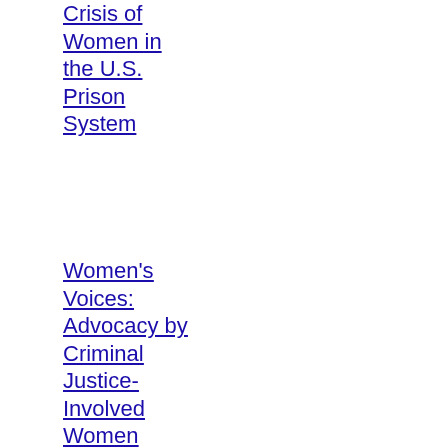Crisis of Women in the U.S. Prison System
Women's Voices: Advocacy by Criminal Justice-Involved Women
[Figure (logo): Prison Rape Elimination Commission logo — dark red background with white bold text reading PRISON RAPE ELIMINATION COMMISSION]